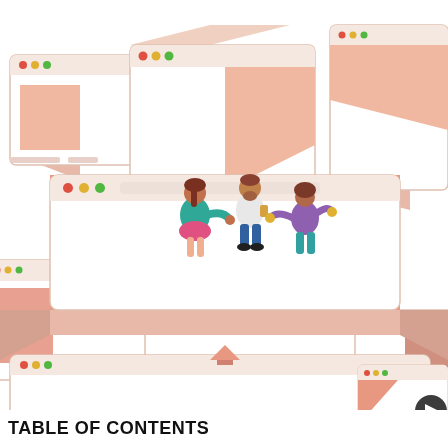[Figure (illustration): Isometric illustration of multiple layered browser windows in salmon/peach tones arranged in a staircase perspective pattern, with three illustrated people (figures in teal, pink/red, and purple outfits) standing on the central foreground browser window, appearing to collaborate or interact.]
TABLE OF CONTENTS